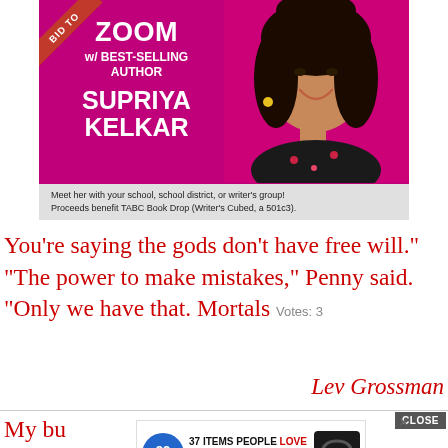[Figure (photo): Advertisement banner for a Zoom meeting with best-selling author Supriya Kelkar. Purple/magenta background with author photo on right, text on left reading ZOOM w/ BEST-SELLING AUTHOR SUPRIYA KELKAR. Red ribbon in top-left corner says BID TO. Bottom bar reads: Meet her with your school, school district, or writer's group! Proceeds benefit TABC Book Drop (Writer's Cubed, a 501c3).]
You're saying the gods don't have free will." "The power to make mistakes," Penny said. "Only we have that. Mortals   Votes: 3
Lev Grossman
My bu  nich cuts 1 percent a year for five or six years and balances the budget.   Votes: 3
[Figure (infographic): Advertisement overlay: 22 Words logo (blue circle) with text '37 ITEMS PEOPLE LOVE TO PURCHASE ON AMAZON' and headphones product image. Close button visible.]